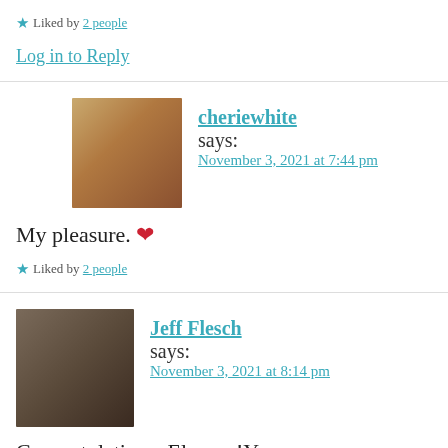★ Liked by 2 people
Log in to Reply
cheriewhite says: November 3, 2021 at 7:44 pm
My pleasure. ❤
★ Liked by 2 people
Jeff Flesch says: November 3, 2021 at 8:14 pm
Congratulations, Eleanor!Your answers were